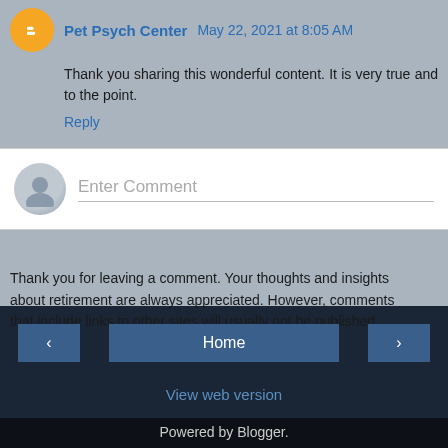Pet Psych Center May 22, 2021 at 8:05 AM
Thank you sharing this wonderful content. It is very true and to the point.
Reply
[Figure (screenshot): Comment input box with avatar placeholder and 'Enter Comment' placeholder text]
Thank you for leaving a comment. Your thoughts and insights about retirement are always appreciated. However, comments that include links to other sites will usually not be published.
Home | < | >
View web version
Powered by Blogger.